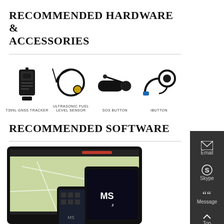RECOMMENDED HARDWARE & ACCESSORIES
[Figure (photo): Four hardware product images in a row: T399L GNSS Tracker (black box device), Ultrasonic Fuel Level Sensor (circular sensor with cable), SOS Button (black cable connector), iButton (coiled black cable with connector)]
T399L GNSS TRACKER
ULTRASONIC FUEL LEVEL SENSOR
SOS BUTTON
iBUTTON
RECOMMENDED SOFTWARE
[Figure (screenshot): Screenshot of MSO3 software running on a laptop, tablet, and smartphone, showing a map-based GPS tracking interface]